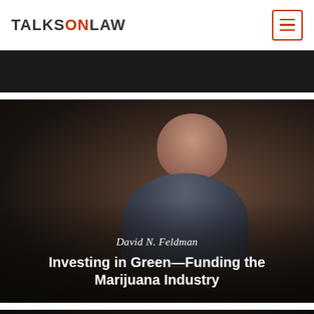TALKSONLAW
[Figure (screenshot): Cropped top portion of a video thumbnail showing a dark background]
[Figure (photo): Video thumbnail showing David N. Feldman, a bald middle-aged man in a collared shirt, against a dark background, with overlay text 'David N. Feldman' and title 'Investing in Green—Funding the Marijuana Industry']
Investing in Green—Funding the Marijuana Industry
[Figure (photo): Partially visible video thumbnail at the bottom of the page showing a dark background with the top of a person's head visible]